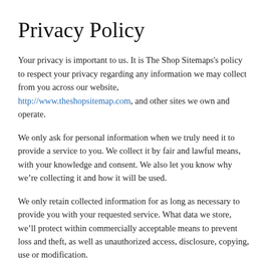Privacy Policy
Your privacy is important to us. It is The Shop Sitemaps's policy to respect your privacy regarding any information we may collect from you across our website, http://www.theshopsitemap.com, and other sites we own and operate.
We only ask for personal information when we truly need it to provide a service to you. We collect it by fair and lawful means, with your knowledge and consent. We also let you know why we’re collecting it and how it will be used.
We only retain collected information for as long as necessary to provide you with your requested service. What data we store, we’ll protect within commercially acceptable means to prevent loss and theft, as well as unauthorized access, disclosure, copying, use or modification.